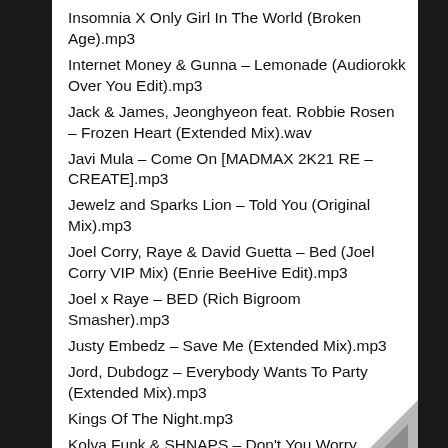Insomnia X Only Girl In The World (Broken Age).mp3
Internet Money & Gunna – Lemonade (Audiorokk Over You Edit).mp3
Jack & James, Jeonghyeon feat. Robbie Rosen – Frozen Heart (Extended Mix).wav
Javi Mula – Come On [MADMAX 2K21 RE – CREATE].mp3
Jewelz and Sparks Lion – Told You (Original Mix).mp3
Joel Corry, Raye & David Guetta – Bed (Joel Corry VIP Mix) (Enrie BeeHive Edit).mp3
Joel x Raye – BED (Rich Bigroom Smasher).mp3
Justy Embedz – Save Me (Extended Mix).mp3
Jord, Dubdogz – Everybody Wants To Party (Extended Mix).mp3
Kings Of The Night.mp3
Kolva Funk & SHNAPS – Don't You Worry